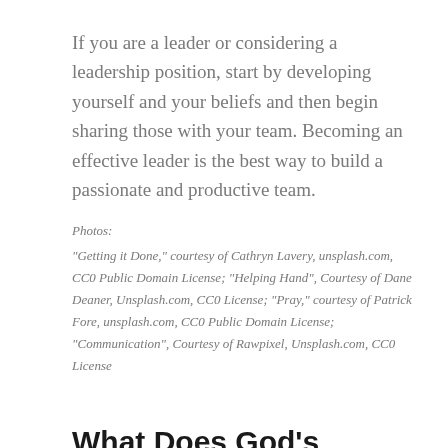If you are a leader or considering a leadership position, start by developing yourself and your beliefs and then begin sharing those with your team. Becoming an effective leader is the best way to build a passionate and productive team.
Photos: "Getting it Done," courtesy of Cathryn Lavery, unsplash.com, CC0 Public Domain License; "Helping Hand", Courtesy of Dane Deaner, Unsplash.com, CC0 License; "Pray," courtesy of Patrick Fore, unsplash.com, CC0 Public Domain License; "Communication", Courtesy of Rawpixel, Unsplash.com, CC0 License
What Does God's Forgiveness Really Mean?